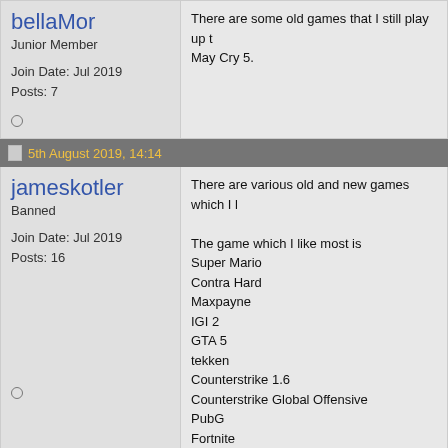bellaMor
Junior Member
Join Date: Jul 2019
Posts: 7
There are some old games that I still play up to May Cry 5.
5th August 2019, 14:14
jameskotler
Banned
Join Date: Jul 2019
Posts: 16
There are various old and new games which I...
The game which I like most is
Super Mario
Contra Hard
Maxpayne
IGI 2
GTA 5
tekken
Counterstrike 1.6
Counterstrike Global Offensive
PubG
Fortnite
Apexlegend
10th December 2019, 20:43
darkness94
Junior Member
i play doom for dos even in 2019. it's very play...